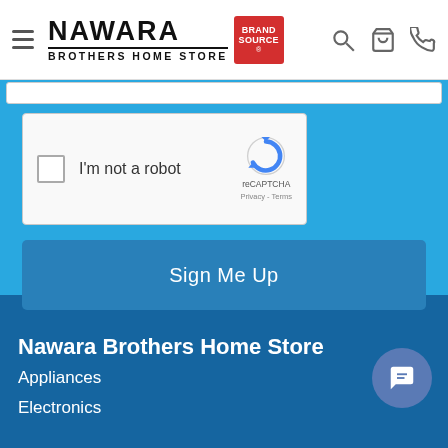Nawara Brothers Home Store — Brand Source header with hamburger menu, logo, search, cart, and phone icons
[Figure (screenshot): reCAPTCHA widget with checkbox labeled 'I'm not a robot' and reCAPTCHA logo with Privacy and Terms links]
Sign Me Up
Nawara Brothers Home Store
Appliances
Electronics